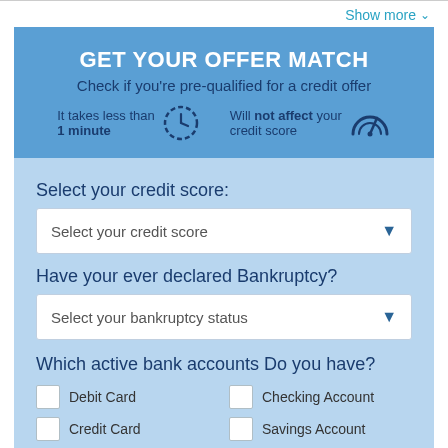Show more ∨
GET YOUR OFFER MATCH
Check if you're pre-qualified for a credit offer
It takes less than 1 minute
Will not affect your credit score
Select your credit score:
Select your credit score
Have your ever declared Bankruptcy?
Select your bankruptcy status
Which active bank accounts Do you have?
Debit Card
Checking Account
Credit Card
Savings Account